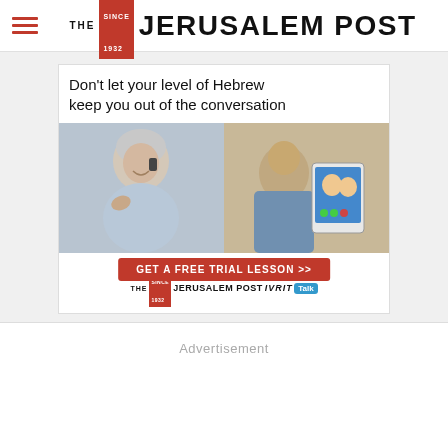The Jerusalem Post
[Figure (illustration): Advertisement banner for The Jerusalem Post IVRIT Talk Hebrew language lessons. Shows headline 'Don't let your level of Hebrew keep you out of the conversation', photos of a woman on phone and a man holding tablet with video call, a red button 'GET A FREE TRIAL LESSON >>', and The Jerusalem Post IVRIT Talk logo.]
Advertisement